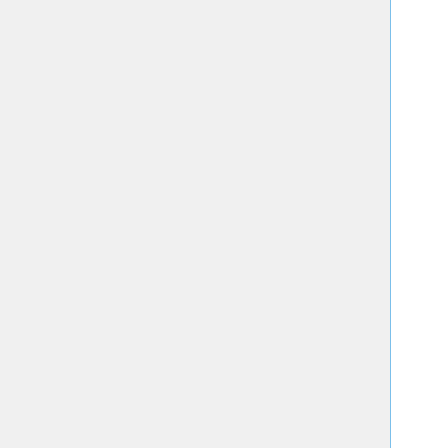| Institution | Area | Date | Status |
| --- | --- | --- | --- |
| Wess... |  |  | fill... |
| Drake U | math ed |  | rejec... |
| Drake U |  |  |  |
| Duquesne U* |  | Dec 1 | (M!) ... (C!) ... Rach... Neila... |
| East Carolina U |  |  |  |
| East Carolina U |  |  |  |
| Eastern Kentucky U | stat(1)/general(2) |  | (M!) ... all positi... filled... |
| Embry-Riddle Aeronautical U |  |  | (C) |
| Fitchburg State U |  |  | (M!) ... (→C)... |
| Florida Atlantic U |  |  |  |
| Florida Int'l U 🔒* |  |  |  |
| Fordham U 🔒* |  |  | (M!) ... |